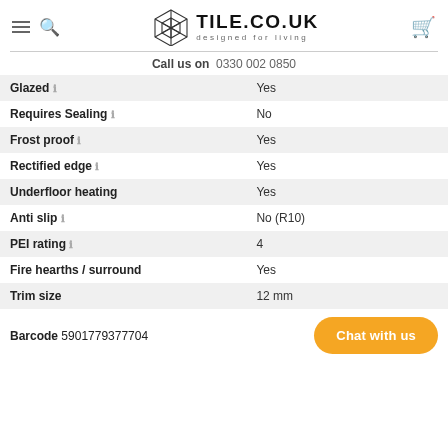TILE.CO.UK designed for living
Call us on 0330 002 0850
| Property | Value |
| --- | --- |
| Glazed | Yes |
| Requires Sealing | No |
| Frost proof | Yes |
| Rectified edge | Yes |
| Underfloor heating | Yes |
| Anti slip | No (R10) |
| PEI rating | 4 |
| Fire hearths / surround | Yes |
| Trim size | 12 mm |
Barcode 5901779377704
Chat with us